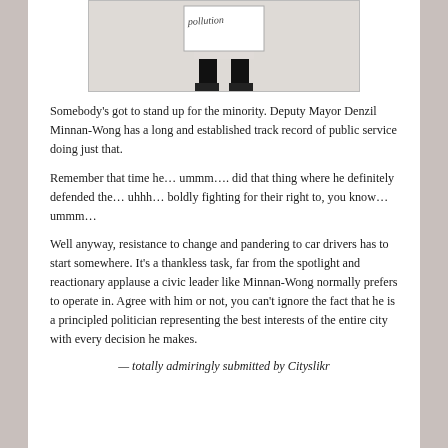[Figure (photo): A person holding up a sign with handwritten text, shown from the waist down against a light background. The person is wearing black pants.]
Somebody's got to stand up for the minority. Deputy Mayor Denzil Minnan-Wong has a long and established track record of public service doing just that.
Remember that time he… ummm…. did that thing where he definitely defended the… uhhh… boldly fighting for their right to, you know… ummm…
Well anyway, resistance to change and pandering to car drivers has to start somewhere. It's a thankless task, far from the spotlight and reactionary applause a civic leader like Minnan-Wong normally prefers to operate in. Agree with him or not, you can't ignore the fact that he is a principled politician representing the best interests of the entire city with every decision he makes.
— totally admiringly submitted by Cityslikr